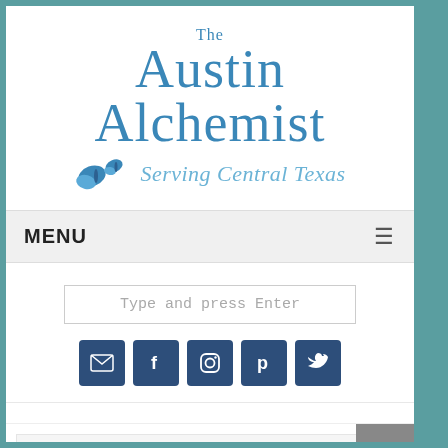[Figure (logo): The Austin Alchemist logo with butterflies and tagline 'Serving Central Texas']
MENU
Type and press Enter
[Figure (infographic): Five social media icon buttons: email, Facebook, Instagram, Pinterest, Twitter]
Home > Chakra Healing